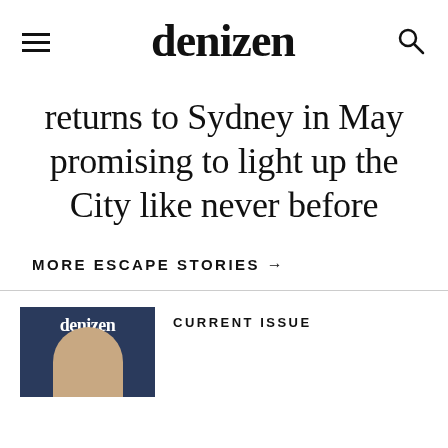denizen
returns to Sydney in May promising to light up the City like never before
MORE ESCAPE STORIES →
[Figure (photo): Magazine cover of Denizen showing a person against a dark blue background]
CURRENT ISSUE